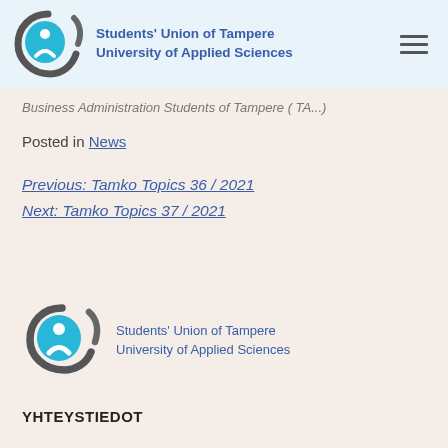[Figure (logo): Students' Union of Tampere University of Applied Sciences logo with circular swoosh and figure, header version]
Business Administration Students of Tampere (TA...)
Posted in News
Previous: Tamko Topics 36 / 2021
Next: Tamko Topics 37 / 2021
[Figure (logo): Students' Union of Tampere University of Applied Sciences logo with circular swoosh and figure, footer version]
YHTEYSTIEDOT